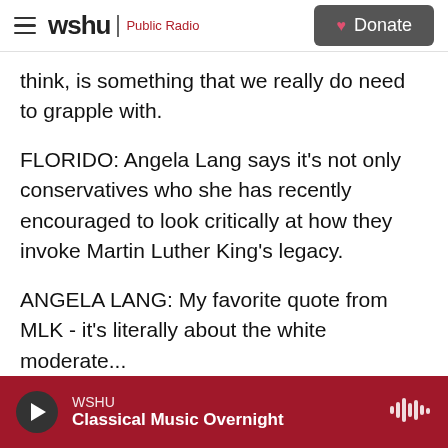wshu Public Radio | Donate
think, is something that we really do need to grapple with.
FLORIDO: Angela Lang says it's not only conservatives who she has recently encouraged to look critically at how they invoke Martin Luther King's legacy.
ANGELA LANG: My favorite quote from MLK - it's literally about the white moderate...
FLORIDO: From the letter King while locked up at the Birmingham Jail.
WSHU Classical Music Overnight